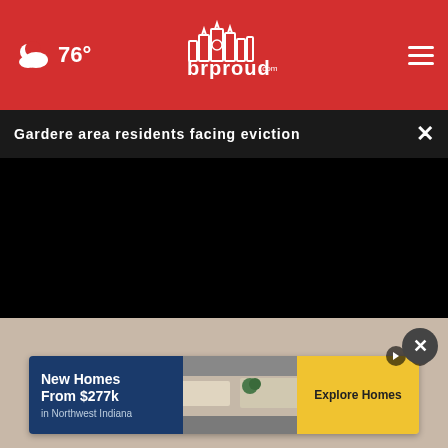76° brproud.com
Gardere area residents facing eviction
[Figure (screenshot): Black video player area (paused, no content visible)]
[Figure (screenshot): Video player controls bar with play button, mute button, 00:00 timestamp, captions button, and fullscreen button]
[Figure (advertisement): Ad banner: New Homes From $277k in Northwest Indiana - Explore Homes button]